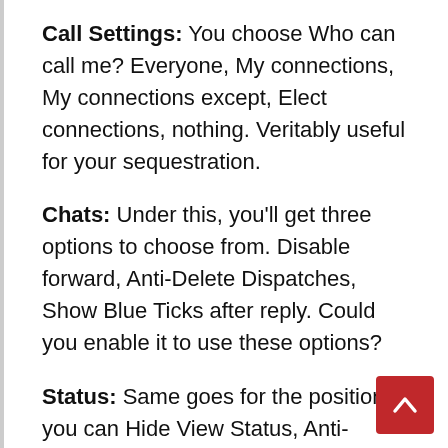Call Settings: You choose Who can call me? Everyone, My connections, My connections except, Elect connections, nothing. Veritably useful for your sequestration.
Chats: Under this, you'll get three options to choose from. Disable forward, Anti-Delete Dispatches, Show Blue Ticks after reply. Could you enable it to use these options?
Status: Same goes for the position you can Hide View Status, Anti-Delete Status. Just you to enable it.
Security: Essential, and you must use it. You're getting colorful security options like Pattern Cinch Leg Cinch. Make Pattern unnoticeable.